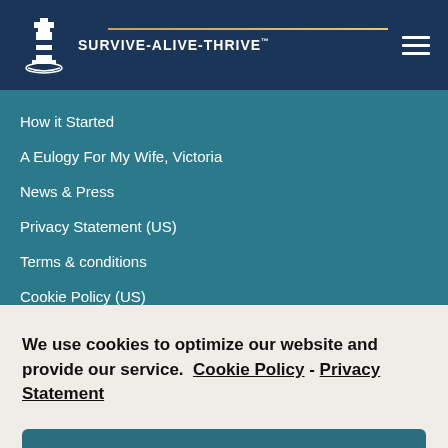SURVIVE-ALIVE-THRIVE
How it Started
A Eulogy For My Wife, Victoria
News & Press
Privacy Statement (US)
Terms & conditions
Cookie Policy (US)
We use cookies to optimize our website and provide our service.  Cookie Policy  -  Privacy Statement
Accept
Facilitation and Resources to navigate the Journey